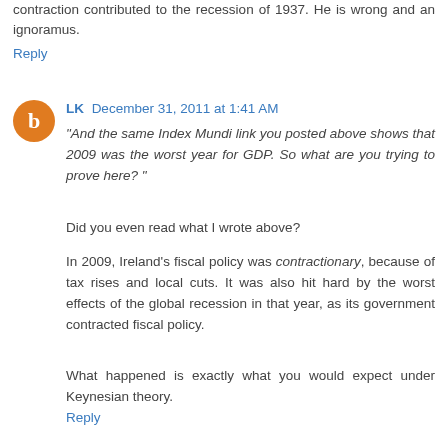contraction contributed to the recession of 1937. He is wrong and an ignoramus.
Reply
LK  December 31, 2011 at 1:41 AM
"And the same Index Mundi link you posted above shows that 2009 was the worst year for GDP. So what are you trying to prove here?"
Did you even read what I wrote above?
In 2009, Ireland's fiscal policy was contractionary, because of tax rises and local cuts. It was also hit hard by the worst effects of the global recession in that year, as its government contracted fiscal policy.
What happened is exactly what you would expect under Keynesian theory.
Reply